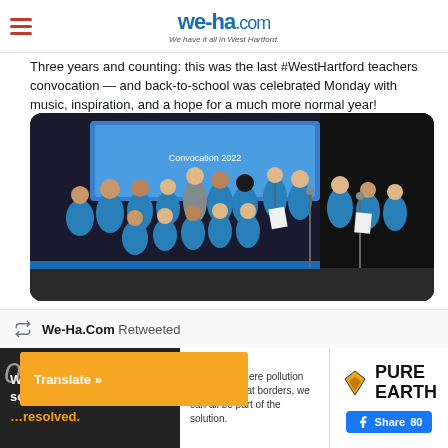we-ha.com — We have it all in West Hartford.
Three years and counting: this was the last #WestHartford teachers convocation — and back-to-school was celebrated Monday with music, inspiration, and a hope for a much more normal year! @TownofWestHrtfd #WeHa we-ha.com/west-hartford-…
[Figure (photo): Children in blue t-shirts singing on a stage with a projection screen behind them showing 'Convocation 2022']
1  4
We-Ha.Com Retweeted
[Figure (infographic): Pure Earth advertisement: 'We believe the solution to pollution is resolved.' with text 'In a world where pollution doesn't stop at borders, we can all be part of the solution.' and Pure Earth logo with Facebook Share 80 button]
Translate »